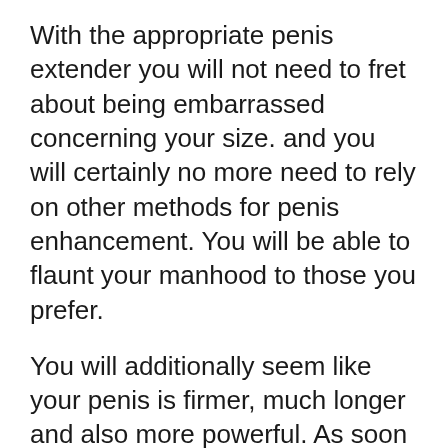With the appropriate penis extender you will not need to fret about being embarrassed concerning your size. and you will certainly no more need to rely on other methods for penis enhancement. You will be able to flaunt your manhood to those you prefer.
You will additionally seem like your penis is firmer, much longer and also more powerful. As soon as you locate the best penis extender for your size you will certainly notice the distinction immediately.
You do not have to spend money on a penis extender simply to obtain the outcomes you are trying to find. Just ensure that you follow the instructions thoroughly as well as use it